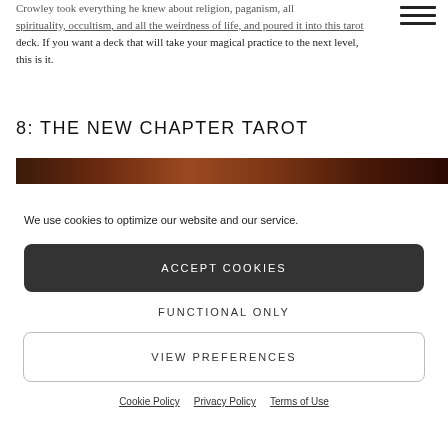[Figure (other): Hamburger menu icon (three horizontal lines) in top right corner]
Crowley took everything he knew about religion, paganism, all spirituality, occultism, and all the weirdness of life, and poured it into this tarot deck. If you want a deck that will take your magical practice to the next level, this is it.
8: THE NEW CHAPTER TAROT
[Figure (photo): A horizontal strip showing tarot card imagery with dark reddish-brown tones]
We use cookies to optimize our website and our service.
ACCEPT COOKIES
FUNCTIONAL ONLY
VIEW PREFERENCES
Cookie Policy  Privacy Policy  Terms of Use